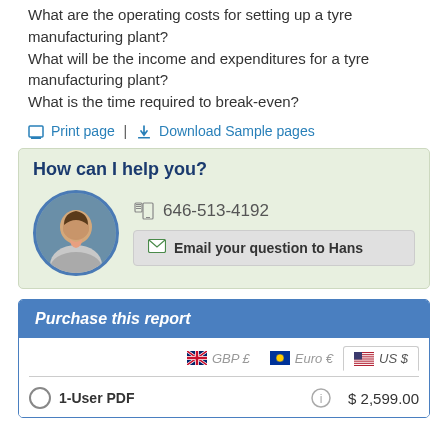What are the operating costs for setting up a tyre manufacturing plant? What will be the income and expenditures for a tyre manufacturing plant? What is the time required to break-even?
🖨 Print page | ⬇ Download Sample pages
How can I help you?
646-513-4192
Email your question to Hans
Purchase this report
GBP £ | Euro € | US $
1-User PDF  $ 2,599.00